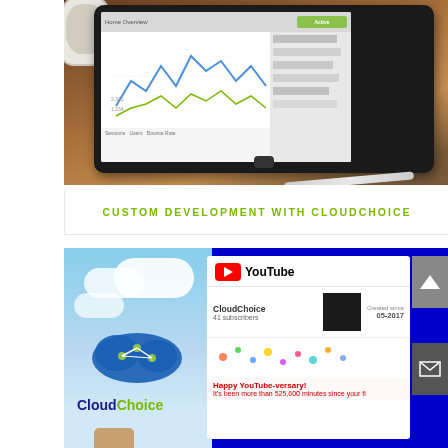[Figure (photo): A tablet device on a wooden table showing a Google Analytics-style line chart on screen, with a stylus beside it and a coffee cup visible in the upper left corner]
CUSTOM DEVELOPMENT WITH CLOUDCHOICE
[Figure (screenshot): A blue-bordered card showing on the left a CloudChoice branded image with cloud logo against a sky background, and on the right a YouTube channel page screenshot showing CloudChoice channel with 41 subscribers, created since 05-2017, and a Happy YouTube-versary message saying it has been more than 525,600 minutes since the first post]